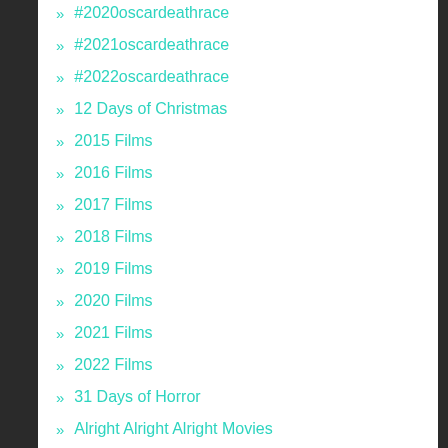#2020oscardeathrace
#2021oscardeathrace
#2022oscardeathrace
12 Days of Christmas
2015 Films
2016 Films
2017 Films
2018 Films
2019 Films
2020 Films
2021 Films
2022 Films
31 Days of Horror
Alright Alright Alright Movies
Batman Day
Black Lodge Day